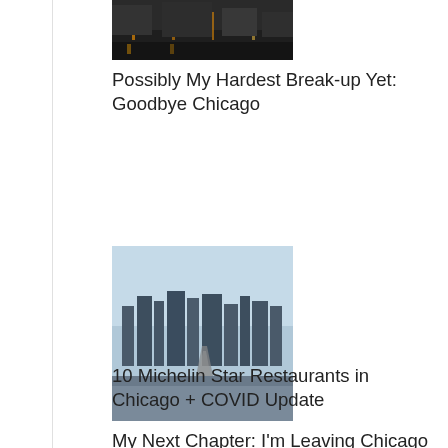[Figure (photo): Night city street scene, dark tones]
Possibly My Hardest Break-up Yet: Goodbye Chicago
[Figure (photo): Aerial daytime view of Chicago city with blue sky]
My Next Chapter: I'm Leaving Chicago
10 Michelin Star Restaurants in Chicago + COVID Update